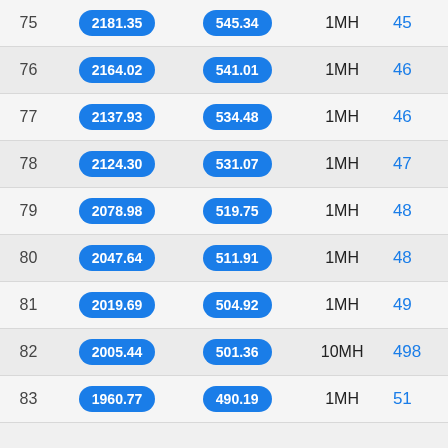| # | Col2 | Col3 | Type | Val |
| --- | --- | --- | --- | --- |
| 75 | 2181.35 | 545.34 | 1MH | 45 |
| 76 | 2164.02 | 541.01 | 1MH | 46 |
| 77 | 2137.93 | 534.48 | 1MH | 46 |
| 78 | 2124.30 | 531.07 | 1MH | 47 |
| 79 | 2078.98 | 519.75 | 1MH | 48 |
| 80 | 2047.64 | 511.91 | 1MH | 48 |
| 81 | 2019.69 | 504.92 | 1MH | 49 |
| 82 | 2005.44 | 501.36 | 10MH | 498 |
| 83 | 1960.77 | 490.19 | 1MH | 51 |